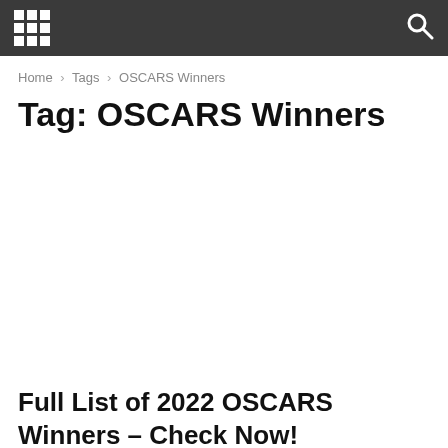Home › Tags › OSCARS Winners
Tag: OSCARS Winners
Full List of 2022 OSCARS Winners – Check Now!